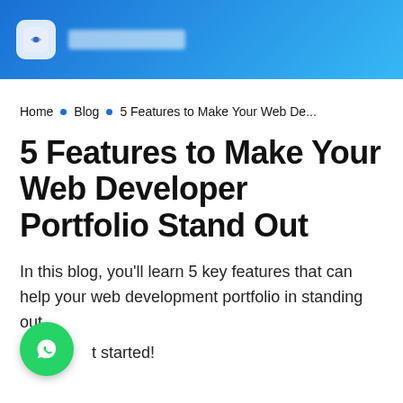[Logo] [Brand name blurred]
Home • Blog • 5 Features to Make Your Web De...
5 Features to Make Your Web Developer Portfolio Stand Out
In this blog, you'll learn 5 key features that can help your web development portfolio in standing out
Let's get started!
[Figure (logo): WhatsApp floating action button - green circle with white WhatsApp icon]